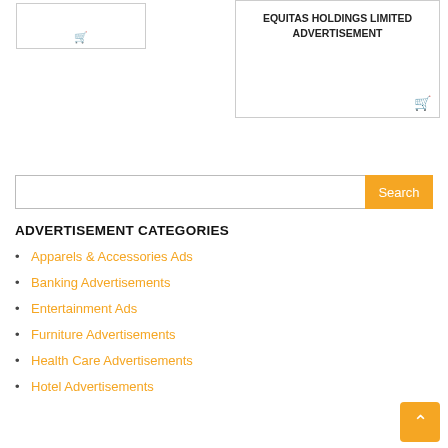[Figure (other): Card with shopping cart icon on the left]
[Figure (other): Card with title EQUITAS HOLDINGS LIMITED ADVERTISEMENT and shopping cart icon]
EQUITAS HOLDINGS LIMITED ADVERTISEMENT
ADVERTISEMENT CATEGORIES
Apparels & Accessories Ads
Banking Advertisements
Entertainment Ads
Furniture Advertisements
Health Care Advertisements
Hotel Advertisements